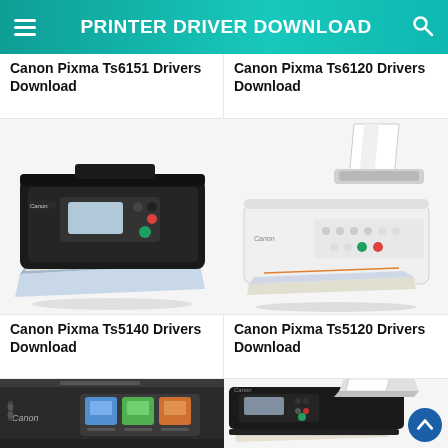PRINTER DRIVER DOWNLOAD
Canon Pixma Ts6151 Drivers Download
Canon Pixma Ts6120 Drivers Download
[Figure (photo): Canon Pixma TS5140 black all-in-one inkjet printer with paper output tray open and printed pages coming out]
[Figure (photo): Canon Pixma TS5120 white compact inkjet printer with paper loaded in the rear feeder]
Canon Pixma Ts5140 Drivers Download
Canon Pixma Ts5120 Drivers Download
[Figure (photo): Close-up of a dark grey Canon inkjet printer showing the touchscreen control panel with copy, scan, and other function icons]
[Figure (photo): Canon black all-in-one inkjet printer with ADF document feeder and colorful printed pages in output tray]